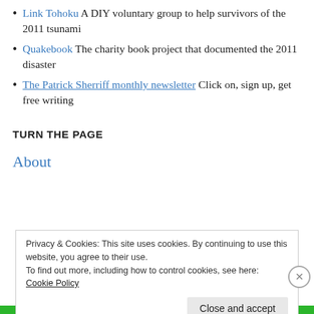Link Tohoku A DIY voluntary group to help survivors of the 2011 tsunami
Quakebook The charity book project that documented the 2011 disaster
The Patrick Sherriff monthly newsletter Click on, sign up, get free writing
TURN THE PAGE
About
Privacy & Cookies: This site uses cookies. By continuing to use this website, you agree to their use.
To find out more, including how to control cookies, see here: Cookie Policy